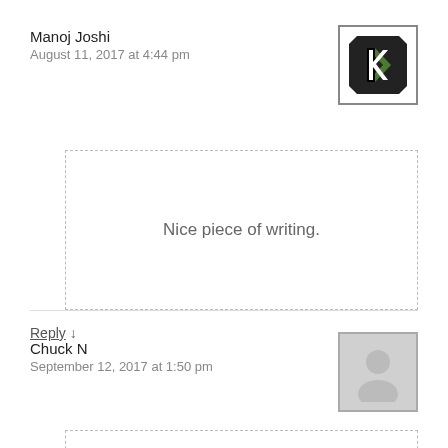Manoj Joshi
August 11, 2017 at 4:44 pm
[Figure (logo): KDE or K-branded logo with black and green chevron design on white background with black border]
Nice piece of writing.
Reply ↓
Chuck N
September 12, 2017 at 1:50 pm
[Figure (illustration): Generic gray user avatar silhouette with gray border]